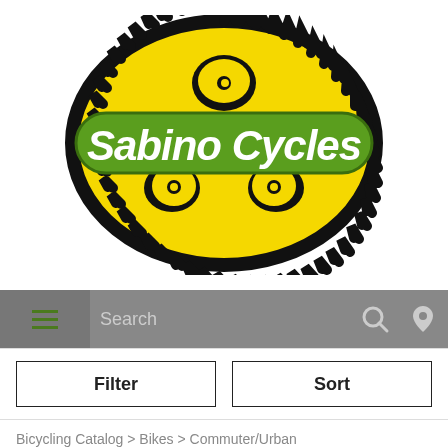[Figure (logo): Sabino Cycles logo: a bicycle chainring/sprocket shape in black with yellow fill, overlaid with a green oval banner reading 'Sabino Cycles' in bold white italic text.]
Search
Filter
Sort
Bicycling Catalog > Bikes > Commuter/Urban
MultiS...